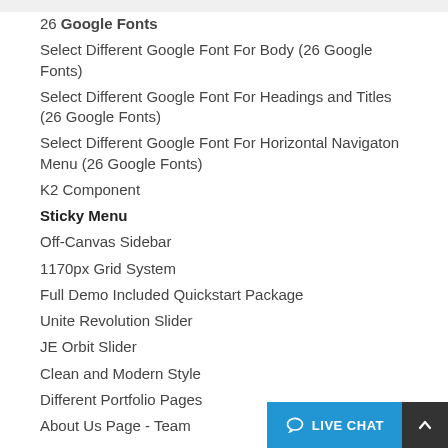26 Google Fonts
Select Different Google Font For Body (26 Google Fonts)
Select Different Google Font For Headings and Titles (26 Google Fonts)
Select Different Google Font For Horizontal Navigaton Menu (26 Google Fonts)
K2 Component
Sticky Menu
Off-Canvas Sidebar
1170px Grid System
Full Demo Included Quickstart Package
Unite Revolution Slider
JE Orbit Slider
Clean and Modern Style
Different Portfolio Pages
About Us Page - Team